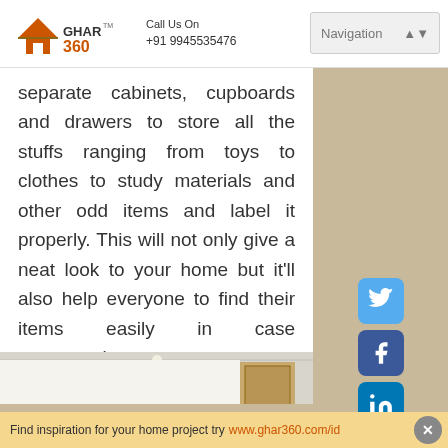Ghar360 | Call Us On +91 9945535476 | Navigation
separate cabinets, cupboards and drawers to store all the stuffs ranging from toys to clothes to study materials and other odd items and label it properly. This will not only give a neat look to your home but it'll also help everyone to find their items easily in case emergencies.
[Figure (photo): Interior room photo showing a minimalist room with white walls and wooden door]
[Figure (infographic): Social media icons: Twitter (blue hexagon), Facebook (dark blue hexagon), LinkedIn (blue hexagon), Google+ (red hexagon)]
Find inspiration for your home project try www.ghar360.com/id X